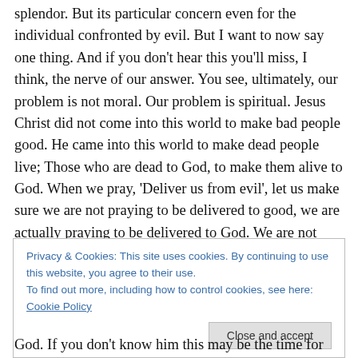splendor. But its particular concern even for the individual confronted by evil. But I want to now say one thing. And if you don't hear this you'll miss, I think, the nerve of our answer. You see, ultimately, our problem is not moral. Our problem is spiritual. Jesus Christ did not come into this world to make bad people good. He came into this world to make dead people live; Those who are dead to God, to make them alive to God. When we pray, 'Deliver us from evil', let us make sure we are not praying to be delivered to good, we are actually praying to be delivered to God. We are not trying to be more moral; we can be a very
Privacy & Cookies: This site uses cookies. By continuing to use this website, you agree to their use.
To find out more, including how to control cookies, see here: Cookie Policy
God. If you don't know him this may be the time for you to